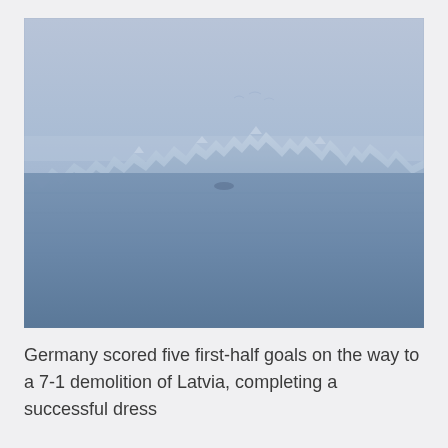[Figure (photo): A misty landscape photograph showing a glacier or snow-covered rocky formation reflected in calm, still water. The palette is entirely blue-grey tones — pale blue sky blending into fog, a distant ridge of ice and rock, and its mirror reflection in the dark, smooth water below.]
Germany scored five first-half goals on the way to a 7-1 demolition of Latvia, completing a successful dress